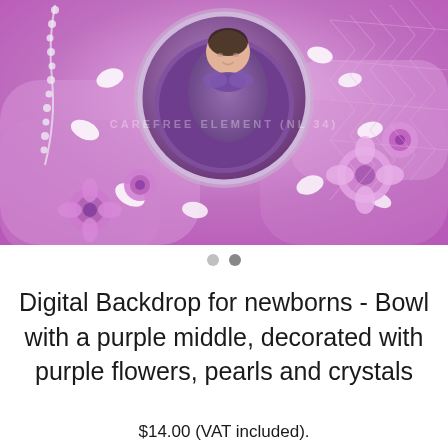[Figure (photo): Newborn baby wrapped in purple cloth lying in a round bowl prop, surrounded by purple flowers, white petals, pearls, crystals, and purple netting on a bright purple/lavender background. Aerial/top-down view. Has a watermark overlay.]
Digital Backdrop for newborns - Bowl with a purple middle, decorated with purple flowers, pearls and crystals
$14.00 (VAT included).